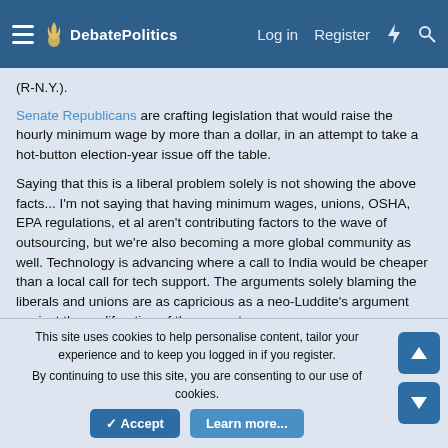DebatePolitics — Log in  Register
(R-N.Y.).
Senate Republicans are crafting legislation that would raise the hourly minimum wage by more than a dollar, in an attempt to take a hot-button election-year issue off the table.
Saying that this is a liberal problem solely is not showing the above facts... I'm not saying that having minimum wages, unions, OSHA, EPA regulations, et al aren't contributing factors to the wave of outsourcing, but we're also becoming a more global community as well. Technology is advancing where a call to India would be cheaper than a local call for tech support. The arguments solely blaming the liberals and unions are as capricious as a neo-Luddite's argument against the proliferation of the computer.
This site uses cookies to help personalise content, tailor your experience and to keep you logged in if you register.
By continuing to use this site, you are consenting to our use of cookies.